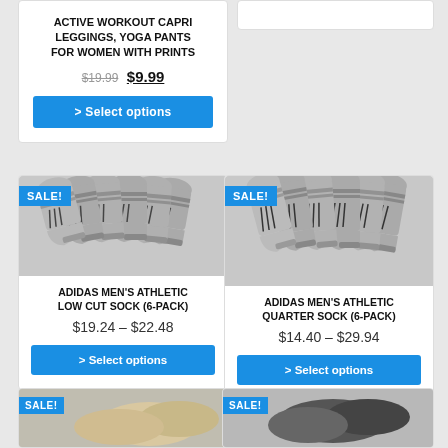ACTIVE WORKOUT CAPRI LEGGINGS, YOGA PANTS FOR WOMEN WITH PRINTS
$19.99  $9.99
> Select options
[Figure (photo): Adidas grey athletic low cut socks 6-pack with SALE! badge]
ADIDAS MEN'S ATHLETIC LOW CUT SOCK (6-PACK)
$19.24 – $22.48
> Select options
[Figure (photo): Adidas grey athletic quarter socks 6-pack with SALE! badge]
ADIDAS MEN'S ATHLETIC QUARTER SOCK (6-PACK)
$14.40 – $29.94
> Select options
[Figure (photo): Bottom partial product card left - partial image visible]
[Figure (photo): Bottom partial product card right - partial image visible]